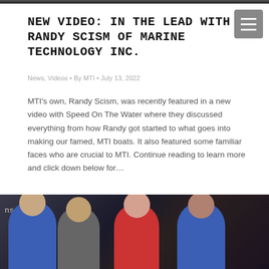[Figure (photo): Dark banner/header image at the very top of the page]
NEW VIDEO: IN THE LEAD WITH RANDY SCISM OF MARINE TECHNOLOGY INC.
News, Videos • By MTI • July 13, 2022
MTI's own, Randy Scism, was recently featured in a new video with Speed On The Water where they discussed everything from how Randy got started to what goes into making our famed, MTI boats. It also featured some familiar faces who are crucial to MTI. Continue reading to learn more and click down below for…
[Figure (photo): Photograph showing four people in a workshop/garage setting. From left: an older man in a blue shirt, a man in a gray shirt, a woman in a red polo shirt smiling, and a person in a blue shirt partially visible on the right. The background shows a boat or vehicle under construction.]